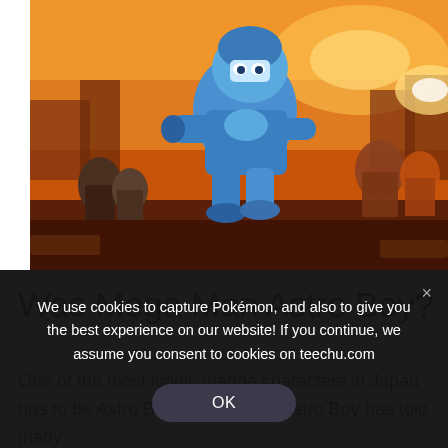[Figure (illustration): Video game artwork showing Mega Man (blue robot character) in action pose with other characters in the background against an orange/brown dystopian cityscape background]
Was Mega Man Astro Boy?
One of the most iconic manga characters in Japan has to be Astro Boy. Since 1952, Astro Boy has told many
We use cookies to capture Pokémon, and also to give you the best experience on our website! If you continue, we assume you consent to cookies on teechu.com
OK